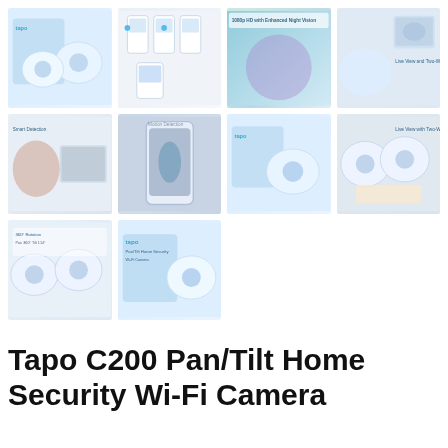[Figure (photo): Tapo C200 camera product box with two cameras on white/blue background]
[Figure (screenshot): Mobile app interface showing camera control screens]
[Figure (photo): 1080p HD camera feature highlight with child in background]
[Figure (photo): Camera monitoring a cat, lifestyle shot]
[Figure (photo): Person at home being monitored, smart home lifestyle]
[Figure (photo): Motion detection feature screenshot with person and phone]
[Figure (photo): Tapo camera product box with camera unit]
[Figure (photo): Two Tapo cameras lifestyle shot with food]
[Figure (photo): Two Tapo C200 cameras side by side, feature comparison]
[Figure (photo): Tapo C200 Pan/Tilt Home Security camera product box]
Tapo C200 Pan/Tilt Home Security Wi-Fi Camera